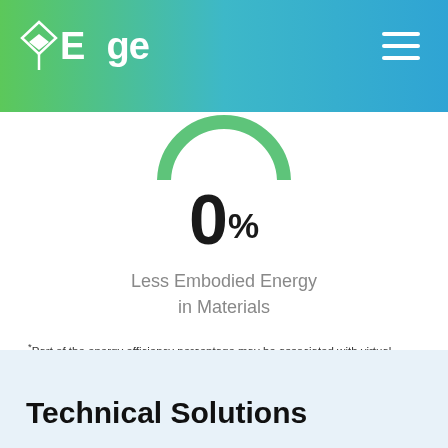Edge
[Figure (donut-chart): Partial green donut/ring chart showing 0% less embodied energy in materials]
0%
Less Embodied Energy in Materials
*Part of the energy efficiency percentage may be associated with virtual energy for comfort depending on the presence of heating and cooling systems. Note that virtual energy does not contribute savings to utility bills.
Technical Solutions